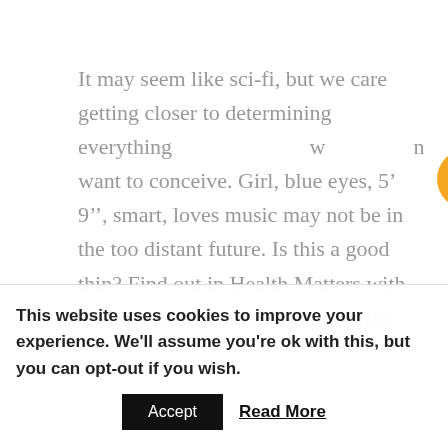It may seem like sci-fi, but we care getting closer to determining everything w hi u want to conceive. Girl, blue eyes, 5â€™9â€, smart, loves music may not be in the too distant future. Is this a good thin? Find out in Health Matters with Heather Brittany and Cynthia Brian.
[Figure (infographic): Social media icons overlay: RSS feed icon (orange), FOLLOW button (grey), Facebook icon (blue), Twitter icon (light blue)]
Create your own garden of healing and inspiration by incorporating simple elements. To dream, awaken and heal with Goddess Gardener, Cynthia Brian. If you
This website uses cookies to improve your experience. We'll assume you're ok with this, but you can opt-out if you wish.